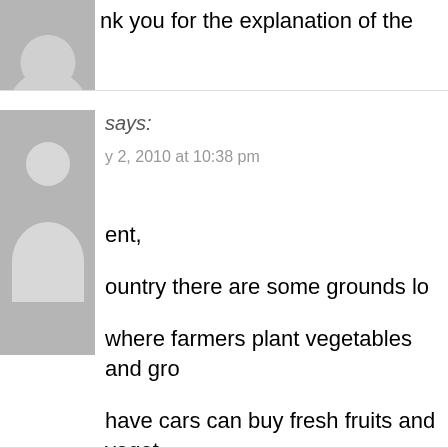[Figure (illustration): Partial avatar/profile picture placeholder (gray silhouette) at top of page, cropped]
nk you for the explanation of the
[Figure (illustration): Gray avatar placeholder with white person silhouette (head and shoulders)]
says:
y 2, 2010 at 10:38 pm
ent,
ountry there are some grounds lo where farmers plant vegetables and gro have cars can buy fresh fruits and veget way some people buy a lot of fresh food come to the city along the streets and ca buy the things they have bring. I think it' place near city where people can buy th Nowadays people prefer to buy foods ne too busy to go far for purchase.
Thanks for new words.